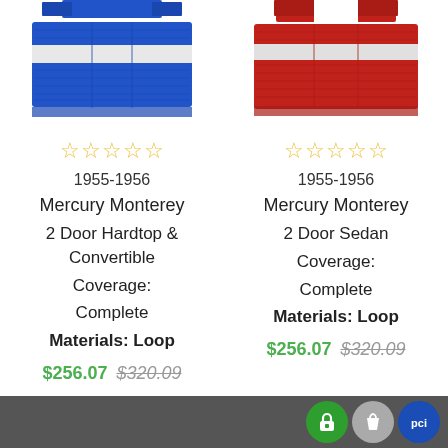[Figure (photo): Blue carpet/mat product for 1955-1956 Mercury Monterey 2 Door Hardtop & Convertible]
[Figure (photo): Red carpet/mat product for 1955-1956 Mercury Monterey 2 Door Sedan]
☆☆☆☆☆
☆☆☆☆☆
1955-1956
1955-1956
Mercury Monterey
Mercury Monterey
2 Door Hardtop & Convertible
2 Door Sedan
Coverage: Complete
Coverage: Complete
Materials: Loop
Materials: Loop
$256.07 $320.09
$256.07 $320.09